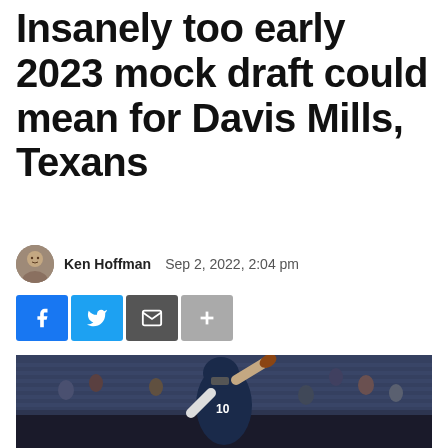Insanely too early 2023 mock draft could mean for Davis Mills, Texans
Ken Hoffman   Sep 2, 2022, 2:04 pm
[Figure (other): Social sharing buttons: Facebook, Twitter, Email, More (+)]
[Figure (photo): Houston Texans quarterback Davis Mills (#10) in a dark navy uniform throwing a football, photographed at an indoor NFL stadium with fans in the background]